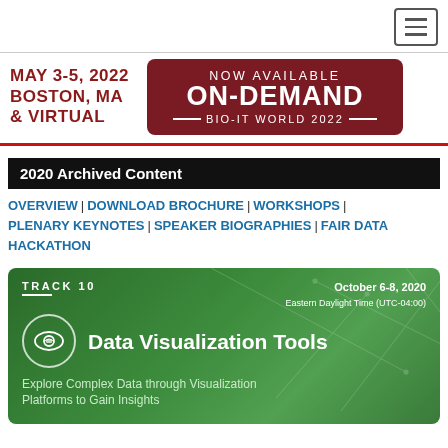[Figure (screenshot): Hamburger menu icon button in top right corner]
MAY 3-5, 2022
BOSTON, MA
& VIRTUAL
[Figure (logo): NOW AVAILABLE ON-DEMAND BIO-IT WORLD 2022 banner in dark red]
2020 Archived Content
OVERVIEW | DOWNLOAD BROCHURE | WORKSHOPS | PLENARY KEYNOTES | SPEAKER BIOGRAPHIES | FAIR DATA HACKATHON
[Figure (infographic): Track 10 Data Visualization Tools banner. October 6-8, 2020 Eastern Daylight Time (UTC-04:00). Explore Complex Data through Visualization Platforms to Gain Insights]